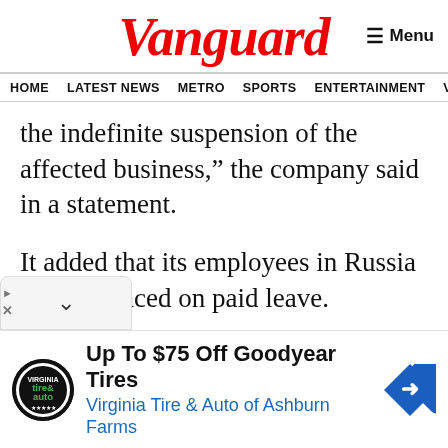Vanguard
HOME  LATEST NEWS  METRO  SPORTS  ENTERTAINMENT  VIDEOS
the indefinite suspension of the affected business,” the company said in a statement.
It added that its employees in Russia will be placed on paid leave.
[Figure (other): Advertisement: Up To $75 Off Goodyear Tires - Virginia Tire & Auto of Ashburn Farms]